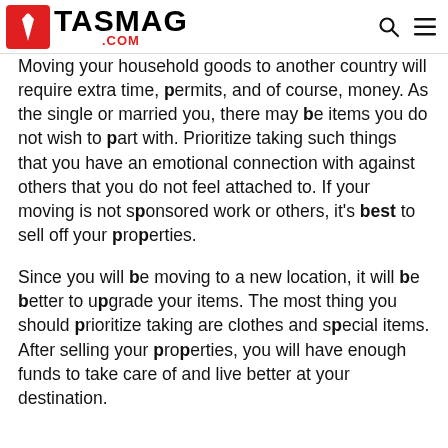TASMAG .COM
Moving your household goods to another country will require extra time, permits, and of course, money. As the single or married you, there may be items you do not wish to part with. Prioritize taking such things that you have an emotional connection with against others that you do not feel attached to. If your moving is not sponsored work or others, it's best to sell off your properties.
Since you will be moving to a new location, it will be better to upgrade your items. The most thing you should prioritize taking are clothes and special items. After selling your properties, you will have enough funds to take care of and live better at your destination.